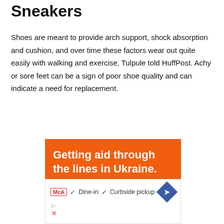Sneakers
Shoes are meant to provide arch support, shock absorption and cushion, and over time these factors wear out quite easily with walking and exercise, Tulpule told HuffPost. Achy or sore feet can be a sign of poor shoe quality and can indicate a need for replacement.
[Figure (other): Orange advertisement banner with white bold text reading 'Getting aid through the lines in Ukraine.' with an outlined button at the bottom]
[Figure (other): White advertisement panel showing McA logo badge, checkmarks for 'Dine-in' and 'Curbside pickup', a blue diamond arrow icon, and small ad icons (play triangle and X)]